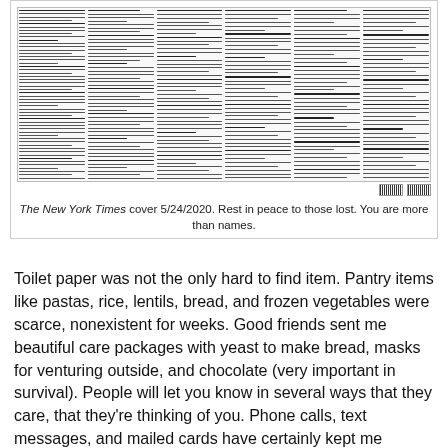[Figure (photo): The New York Times front page cover from 5/24/2020, showing dense columns of small text listing names of those who died, simulating the memorial issue.]
The New York Times cover 5/24/2020. Rest in peace to those lost. You are more than names.
Toilet paper was not the only hard to find item. Pantry items like pastas, rice, lentils, bread, and frozen vegetables were scarce, nonexistent for weeks. Good friends sent me beautiful care packages with yeast to make bread, masks for venturing outside, and chocolate (very important in survival). People will let you know in several ways that they care, that they're thinking of you. Phone calls, text messages, and mailed cards have certainly kept me grounded and made me